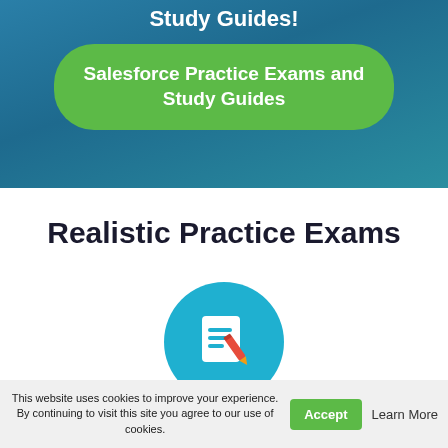Study Guides!
[Figure (other): Green rounded button with text: Salesforce Practice Exams and Study Guides]
Realistic Practice Exams
[Figure (illustration): Circular teal icon with a document/paper and red pencil writing on it]
This website uses cookies to improve your experience. By continuing to visit this site you agree to our use of cookies.